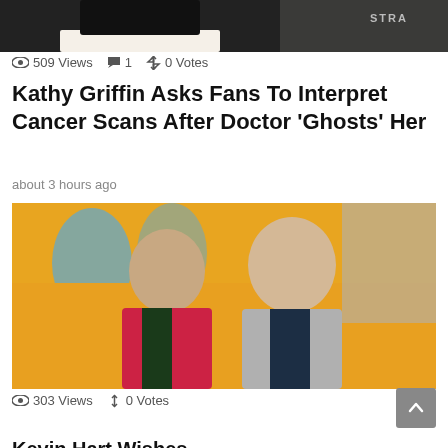[Figure (photo): Top portion of a photo showing a person in a dark outfit, partially cropped, with text 'STRA' visible in background]
509 Views  1  0 Votes
Kathy Griffin Asks Fans To Interpret Cancer Scans After Doctor 'Ghosts' Her
about 3 hours ago
[Figure (photo): Two men posing at an event in front of a yellow and blue illustrated backdrop. The shorter man on the left wears a bright red/pink blazer with a floral tie. The taller man on the right wears a grey bomber jacket over a dark navy shirt.]
303 Views  0 Votes
Kevin Hart Wishes...